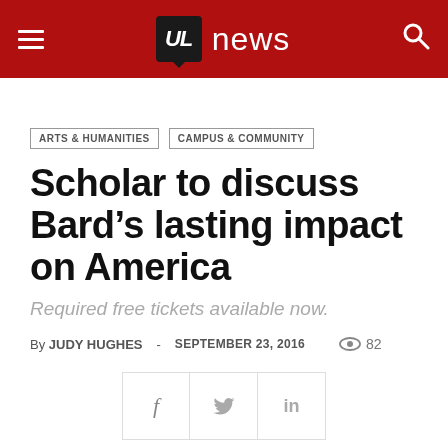UL news
ARTS & HUMANITIES
CAMPUS & COMMUNITY
Scholar to discuss Bard’s lasting impact on America
Required free tickets available now.
By JUDY HUGHES - SEPTEMBER 23, 2016  82
[Figure (other): Social share buttons: Facebook (f), Twitter (t), LinkedIn (in)]